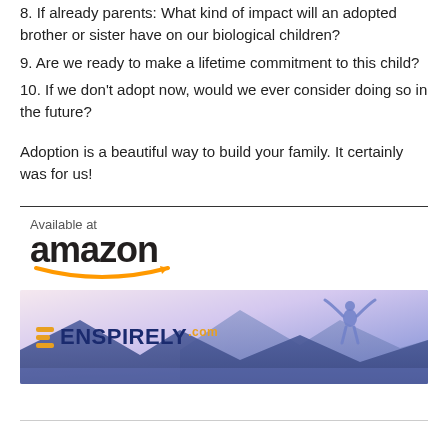8. If already parents: What kind of impact will an adopted brother or sister have on our biological children?
9. Are we ready to make a lifetime commitment to this child?
10. If we don't adopt now, would we ever consider doing so in the future?
Adoption is a beautiful way to build your family. It certainly was for us!
[Figure (logo): Available at Amazon logo with smile arrow]
[Figure (infographic): Enspirely.com banner with mountain landscape background and person silhouette with arms raised]